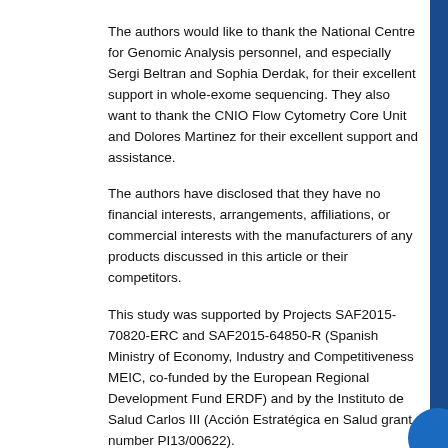The authors would like to thank the National Centre for Genomic Analysis personnel, and especially Sergi Beltran and Sophia Derdak, for their excellent support in whole-exome sequencing. They also want to thank the CNIO Flow Cytometry Core Unit and Dolores Martinez for their excellent support and assistance.
The authors have disclosed that they have no financial interests, arrangements, affiliations, or commercial interests with the manufacturers of any products discussed in this article or their competitors.
This study was supported by Projects SAF2015-70820-ERC and SAF2015-64850-R (Spanish Ministry of Economy, Industry and Competitiveness MEIC, co-funded by the European Regional Development Fund ERDF) and by the Instituto de Salud Carlos III (Acción Estratégica en Salud grant number PI13/00622).
See JNCCN.org for supplemental online content.
References